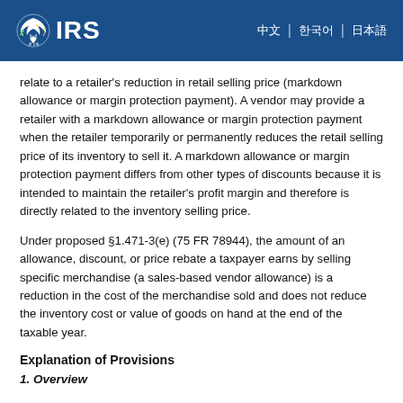IRS — navigation links
relate to a retailer's reduction in retail selling price (markdown allowance or margin protection payment). A vendor may provide a retailer with a markdown allowance or margin protection payment when the retailer temporarily or permanently reduces the retail selling price of its inventory to sell it. A markdown allowance or margin protection payment differs from other types of discounts because it is intended to maintain the retailer's profit margin and therefore is directly related to the inventory selling price.
Under proposed §1.471-3(e) (75 FR 78944), the amount of an allowance, discount, or price rebate a taxpayer earns by selling specific merchandise (a sales-based vendor allowance) is a reduction in the cost of the merchandise sold and does not reduce the inventory cost or value of goods on hand at the end of the taxable year.
Explanation of Provisions
1. Overview